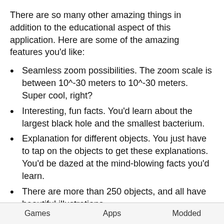There are so many other amazing things in addition to the educational aspect of this application. Here are some of the amazing features you'd like:
Seamless zoom possibilities. The zoom scale is between 10^-30 meters to 10^-30 meters. Super cool, right?
Interesting, fun facts. You'd learn about the largest black hole and the smallest bacterium.
Explanation for different objects. You just have to tap on the objects to get these explanations. You'd be dazed at the mind-blowing facts you'd learn.
There are more than 250 objects, and all have beautiful illustrations.
Your experience will be completed by the interesting music the app features.
Games   Apps   Modded